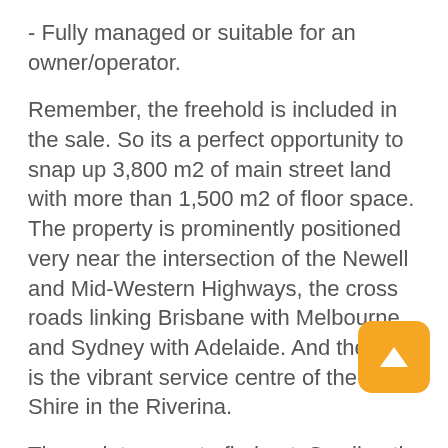- Fully managed or suitable for an owner/operator.
Remember, the freehold is included in the sale. So its a perfect opportunity to snap up 3,800 m2 of main street land with more than 1,500 m2 of floor space. The property is prominently positioned very near the intersection of the Newell and Mid-Western Highways, the cross roads linking Brisbane with Melbourne and Sydney with Adelaide. And the town is the vibrant service centre of the Bland Shire in the Riverina.
Theres lots more to find out. So click on the Submit Confidentiality Agreement icon above. The exclusive broker will get in